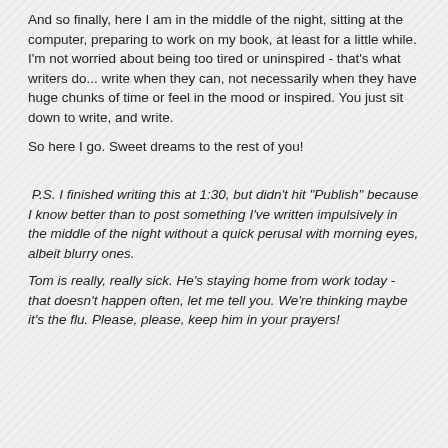And so finally, here I am in the middle of the night, sitting at the computer, preparing to work on my book, at least for a little while. I'm not worried about being too tired or uninspired - that's what writers do... write when they can, not necessarily when they have huge chunks of time or feel in the mood or inspired. You just sit down to write, and write.
So here I go. Sweet dreams to the rest of you!
P.S. I finished writing this at 1:30, but didn't hit "Publish" because I know better than to post something I've written impulsively in the middle of the night without a quick perusal with morning eyes, albeit blurry ones.
Tom is really, really sick. He's staying home from work today - that doesn't happen often, let me tell you. We're thinking maybe it's the flu. Please, please, keep him in your prayers!